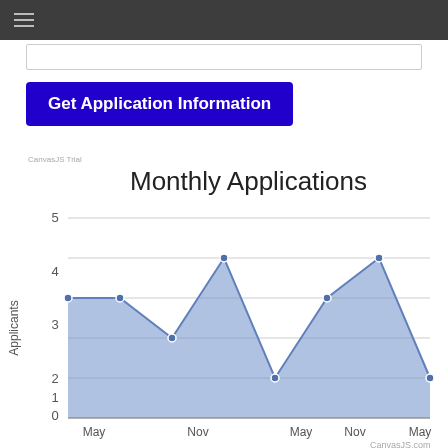≡
Get Application Information
[Figure (area-chart): Monthly Applications]